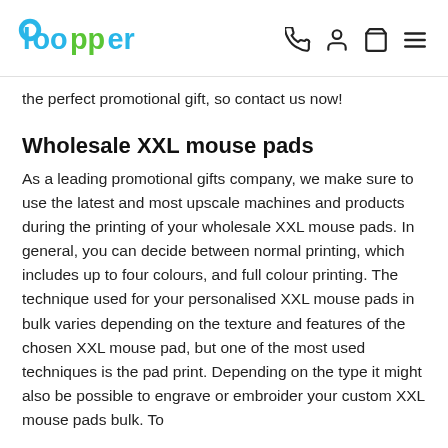Loopper [logo] — navigation icons: phone, account, cart, menu
the perfect promotional gift, so contact us now!
Wholesale XXL mouse pads
As a leading promotional gifts company, we make sure to use the latest and most upscale machines and products during the printing of your wholesale XXL mouse pads. In general, you can decide between normal printing, which includes up to four colours, and full colour printing. The technique used for your personalised XXL mouse pads in bulk varies depending on the texture and features of the chosen XXL mouse pad, but one of the most used techniques is the pad print. Depending on the type it might also be possible to engrave or embroider your custom XXL mouse pads bulk. To